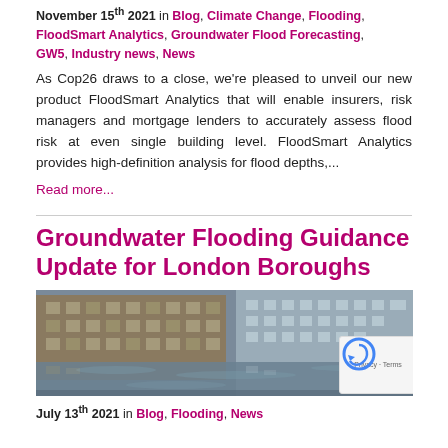November 15 2021 in Blog, Climate Change, Flooding, FloodSmart Analytics, Groundwater Flood Forecasting, GW5, Industry news, News
As Cop26 draws to a close, we're pleased to unveil our new product FloodSmart Analytics that will enable insurers, risk managers and mortgage lenders to accurately assess flood risk at even single building level. FloodSmart Analytics provides high-definition analysis for flood depths,...
Read more...
Groundwater Flooding Guidance Update for London Boroughs
[Figure (photo): Flooded urban street with multi-storey brick buildings on both sides, water reaching partway up the ground floor, brown flood water reflecting the buildings]
July 13th 2021 in Blog, Flooding, News